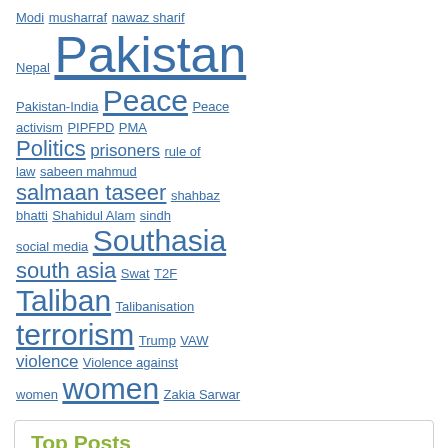Modi musharraf nawaz sharif Nepal Pakistan Pakistan-India Peace Peace activism PIPFPD PMA Politics prisoners rule of law sabeen mahmud salmaan taseer shahbaz bhatti Shahidul Alam sindh social media Southasia south asia Swat T2F Taliban Talibanisation terrorism Trump VAW violence Violence against women women Zakia Sarwar
Top Posts
About
Pakistan's first 'tarana', by Jagannath Azad
PPC provisions against those inciting violence, hatred,